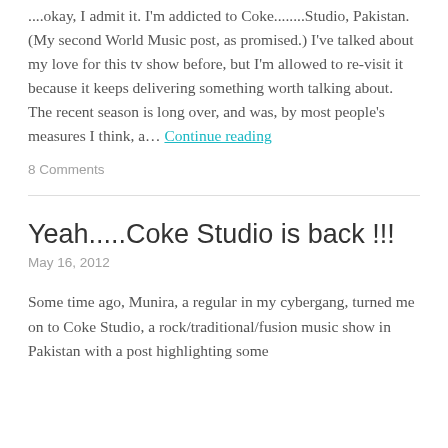....okay, I admit it. I'm addicted to Coke........Studio, Pakistan. (My second World Music post, as promised.) I've talked about my love for this tv show before, but I'm allowed to re-visit it because it keeps delivering something worth talking about. The recent season is long over, and was, by most people's measures I think, a… Continue reading
8 Comments
Yeah.....Coke Studio is back !!!
May 16, 2012
Some time ago, Munira, a regular in my cybergang, turned me on to Coke Studio, a rock/traditional/fusion music show in Pakistan with a post highlighting some